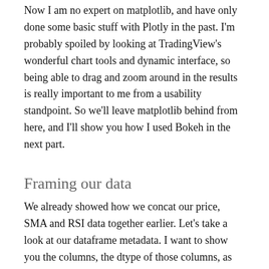Now I am no expert on matplotlib, and have only done some basic stuff with Plotly in the past. I'm probably spoiled by looking at TradingView's wonderful chart tools and dynamic interface, so being able to drag and zoom around in the results is really important to me from a usability standpoint. So we'll leave matplotlib behind from here, and I'll show you how I used Bokeh in the next part.
Framing our data
We already showed how we concat our price, SMA and RSI data together earlier. Let's take a look at our dataframe metadata. I want to show you the columns, the dtype of those columns, as well as that of the index. Tail is included just for illustration.
>>> ticker.columns
Index(['1. open', '2. high', '3. low', '4.